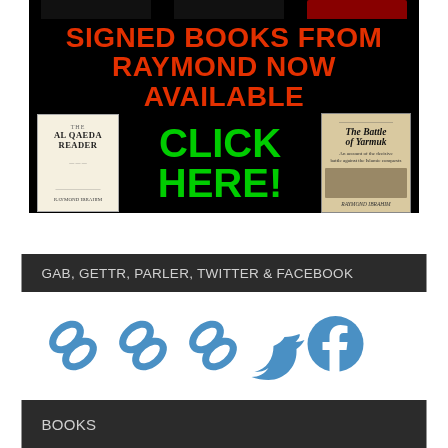[Figure (illustration): Black banner advertisement with red text 'SIGNED BOOKS FROM RAYMOND NOW AVAILABLE', green text 'CLICK HERE!', and two book covers: 'The Al Qaeda Reader' on the left and 'The Battle of Yarmuk' by Raymond Ibrahim on the right.]
GAB, GETTR, PARLER, TWITTER & FACEBOOK
[Figure (illustration): Five social media icons in blue: three chain-link icons (for Gab, Gettr, Parler), a Twitter bird icon, and a Facebook circle icon.]
BOOKS